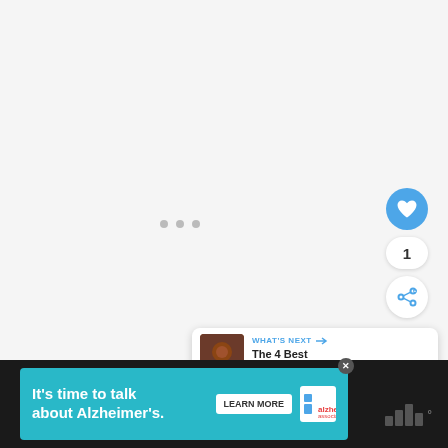[Figure (screenshot): Large white/light grey content area with three horizontal loading dots in the center, representing a loading or blank content state]
[Figure (infographic): Blue circular heart/like button with a heart icon, showing count '1' below it, and a circular share button with share icon]
[Figure (screenshot): What's Next panel with thumbnail image and text 'WHAT'S NEXT → The 4 Best Substitutes f...']
[Figure (screenshot): Advertisement banner with teal background reading "It's time to talk about Alzheimer's." with LEARN MORE button and Alzheimer's Association logo]
[Figure (logo): Footer branding with bar graph style logo and degree symbol]